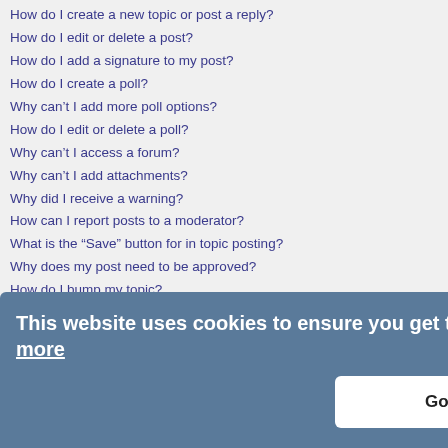How do I create a new topic or post a reply?
How do I edit or delete a post?
How do I add a signature to my post?
How do I create a poll?
Why can't I add more poll options?
How do I edit or delete a poll?
Why can't I access a forum?
Why can't I add attachments?
Why did I receive a warning?
How can I report posts to a moderator?
What is the “Save” button for in topic posting?
Why does my post need to be approved?
How do I bump my topic?
Formatting and Topic Types
What is BBCode?
Can I use HTML?
What are Smilies?
Can I post images?
What are global announcements?
What are announcements?
What are sticky topics?
What are locked topics?
What are topic icons?
User Levels and Groups
What are Administrators?
What are Moderators?